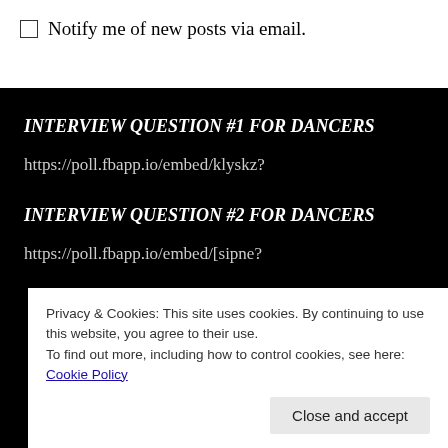Notify me of new posts via email.
INTERVIEW QUESTION #1 FOR DANCERS
https://poll.fbapp.io/embed/klyskz?
INTERVIEW QUESTION #2 FOR DANCERS
https://poll.fbapp.io/embed/[partial, obscured]
Privacy & Cookies: This site uses cookies. By continuing to use this website, you agree to their use.
To find out more, including how to control cookies, see here: Cookie Policy
Close and accept